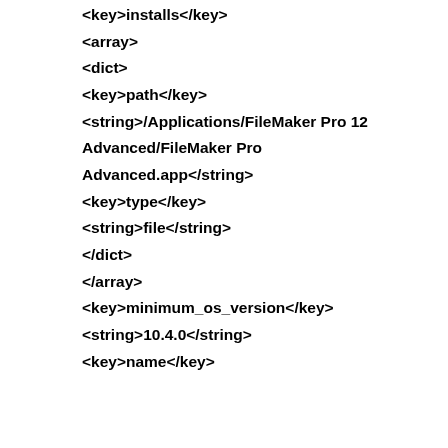<key>installs</key>
<array>
<dict>
<key>path</key>
<string>/Applications/FileMaker Pro 12 Advanced/FileMaker Pro Advanced.app</string>
<key>type</key>
<string>file</string>
</dict>
</array>
<key>minimum_os_version</key>
<string>10.4.0</string>
<key>name</key>